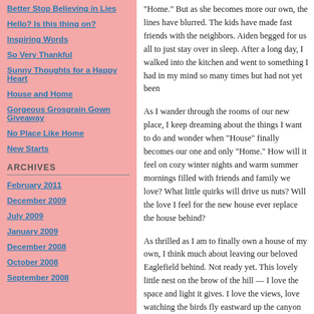Better Stop Believing in Lies
Hello? Is this thing on?
Inspiring Words
So Very Thankful
Sunny Thoughts for a Happy Heart
House and Home
Gorgeous Grosgrain Gown Giveaway
No Place Like Home
New Starts
ARCHIVES
February 2011
December 2009
July 2009
January 2009
December 2008
October 2008
September 2008
“Home.” But as she becomes more our own, the lines have blurred. The kids have made fast friends with the neighbors. Aiden begged for us all to just stay over in sleep. After a long day, I walked into the kitchen and went to something I had in my mind so many times but had not yet been…
As I wander through the rooms of our new place, I keep dreaming about the things I want to do and wonder when “House” finally becomes our one and only “Home.” How will it feel on cozy winter nights and warm summer mornings filled with friends and family we love? What little quirks will drive us nuts? Will the love I feel for the new house ever replace the house behind?
As thrilled as I am to finally own a house of my own, I think much about leaving our beloved Eaglefield behind. Not ready yet. This lovely little nest on the brow of the hill — I love the space and light it gives. I love the views, love watching the birds fly eastward up the canyon of a morning, living with good friends who became dear ones. It was our safe place to stay when things got a bit rough. I brought home when she was born and that it is the only h… in the wee hours of the morning in the kitchen chat… love seeing the foxes and the deer and the skunk…